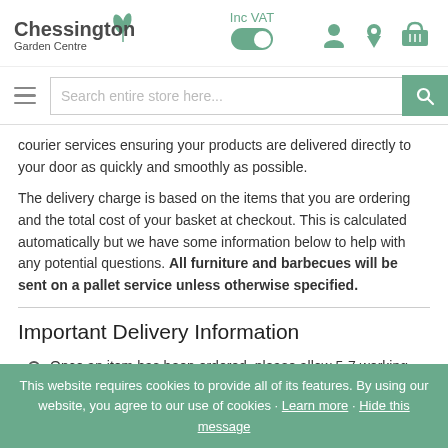Chessington Garden Centre — Inc VAT toggle, user icon, location icon, basket icon
Search entire store here...
courier services ensuring your products are delivered directly to your door as quickly and smoothly as possible.
The delivery charge is based on the items that you are ordering and the total cost of your basket at checkout. This is calculated automatically but we have some information below to help with any potential questions. All furniture and barbecues will be sent on a pallet service unless otherwise specified.
Important Delivery Information
Once an item has been ordered, please allow 5-7 working days. In some cases, items will be dispatched sooner.
This website requires cookies to provide all of its features. By using our website, you agree to our use of cookies · Learn more · Hide this message